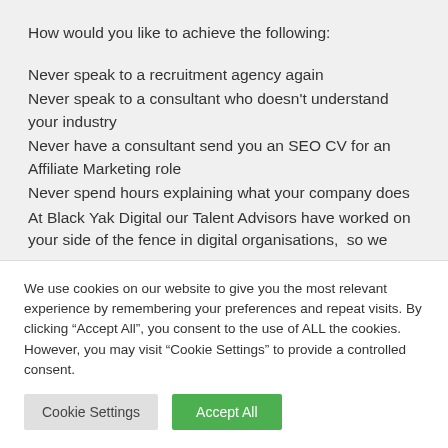How would you like to achieve the following:
Never speak to a recruitment agency again
Never speak to a consultant who doesn't understand your industry
Never have a consultant send you an SEO CV for an Affiliate Marketing role
Never spend hours explaining what your company does
At Black Yak Digital our Talent Advisors have worked on your side of the fence in digital organisations,  so we
We use cookies on our website to give you the most relevant experience by remembering your preferences and repeat visits. By clicking "Accept All", you consent to the use of ALL the cookies. However, you may visit "Cookie Settings" to provide a controlled consent.